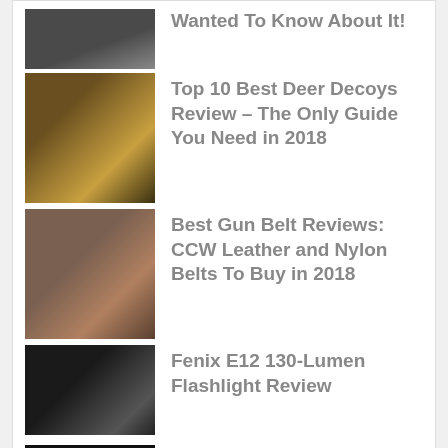Wanted To Know About It!
Top 10 Best Deer Decoys Review – The Only Guide You Need in 2018
Best Gun Belt Reviews: CCW Leather and Nylon Belts To Buy in 2018
Fenix E12 130-Lumen Flashlight Review
SureFire XC1 Compact Pistol Light Review: Is It Worth It?
[Figure (logo): Bob Ward's Sports & Outdoors banner logo with mountain/tree icon]